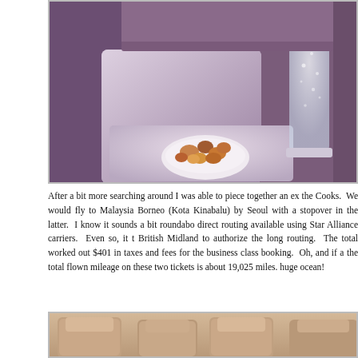[Figure (photo): Airplane business class cabin interior showing a tray table with a small bowl of mixed nuts and a tall glass of sparkling water/champagne, under purple/lavender ambient lighting. Text visible on overhead bin reads 'stow and' and 'off and landing'.]
After a bit more searching around I was able to piece together an ex the Cooks.  We would fly to Malaysia Borneo (Kota Kinabalu) by Seoul with a stopover in the latter.  I know it sounds a bit roundabo direct routing available using Star Alliance carriers.  Even so, it t British Midland to authorize the long routing.  The total worked out $401 in taxes and fees for the business class booking.  Oh, and if a the total flown mileage on these two tickets is about 19,025 miles. huge ocean!
[Figure (photo): Airplane cabin interior showing business class seats with beige/tan upholstery, partially visible.]